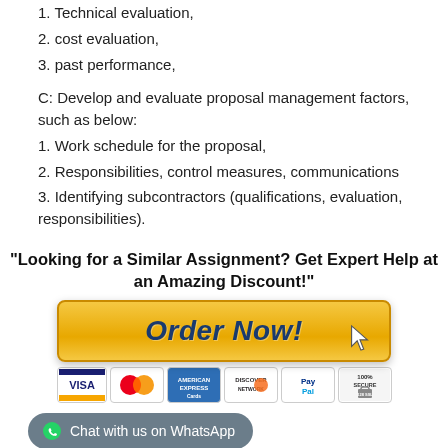1. Technical evaluation,
2. cost evaluation,
3. past performance,
C: Develop and evaluate proposal management factors, such as below:
1. Work schedule for the proposal,
2. Responsibilities, control measures, communications
3. Identifying subcontractors (qualifications, evaluation, responsibilities).
"Looking for a Similar Assignment? Get Expert Help at an Amazing Discount!"
[Figure (infographic): Orange 'Order Now!' button with cursor icon and payment icons (VISA, MasterCard, American Express, Discover, PayPal, 100% Secure)]
Chat with us on WhatsApp
Share this entry